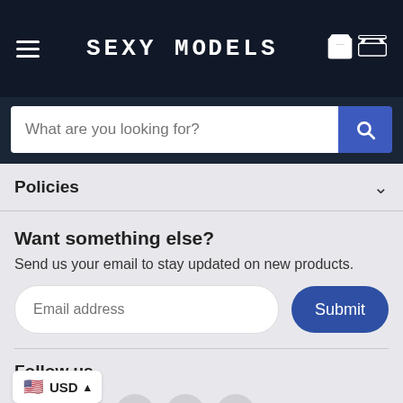SEXY MODELS
What are you looking for?
Policies
Want something else?
Send us your email to stay updated on new products.
Email address
Submit
Follow us
USD